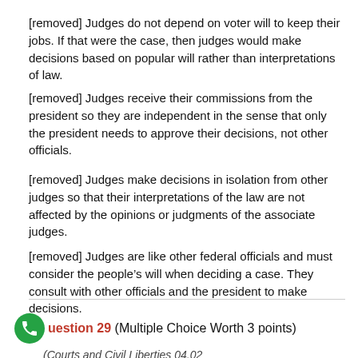[removed] Judges do not depend on voter will to keep their jobs. If that were the case, then judges would make decisions based on popular will rather than interpretations of law.
[removed] Judges receive their commissions from the president so they are independent in the sense that only the president needs to approve their decisions, not other officials.
[removed] Judges make decisions in isolation from other judges so that their interpretations of the law are not affected by the opinions or judgments of the associate judges.
[removed] Judges are like other federal officials and must consider the people's will when deciding a case. They consult with other officials and the president to make decisions.
Question 29 (Multiple Choice Worth 3 points)
(Courts and Civil Liberties 04.02